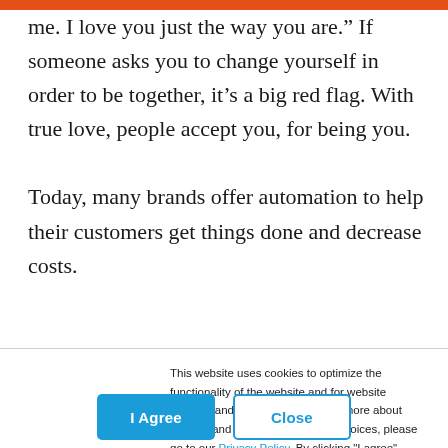me. I love you just the way you are.” If someone asks you to change yourself in order to be together, it’s a big red flag. With true love, people accept you, for being you.
Today, many brands offer automation to help their customers get things done and decrease costs.
This website uses cookies to optimize the functionality of the website and for website analysis and statistics. To find out more about cookies and how to change your choices, please go to our Privacy Policy. By clicking "I agree", closing this banner, or continuing to browse our website, you consent to the use of such cookies.
I Agree
Close